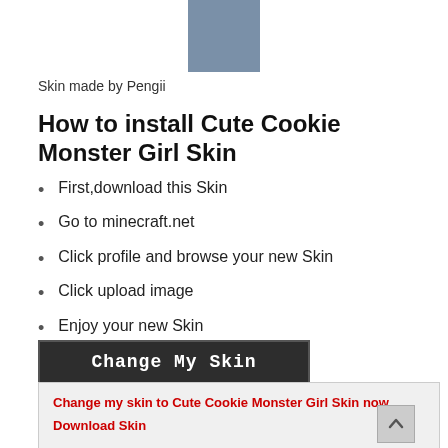[Figure (illustration): Minecraft skin preview image - a blue-grey square representing the Cute Cookie Monster Girl Skin]
Skin made by Pengii
How to install Cute Cookie Monster Girl Skin
First,download this Skin
Go to minecraft.net
Click profile and browse your new Skin
Click upload image
Enjoy your new Skin
[Figure (screenshot): Dark button with text 'Change My Skin' in white monospace font]
Change my skin to Cute Cookie Monster Girl Skin now
Download Skin